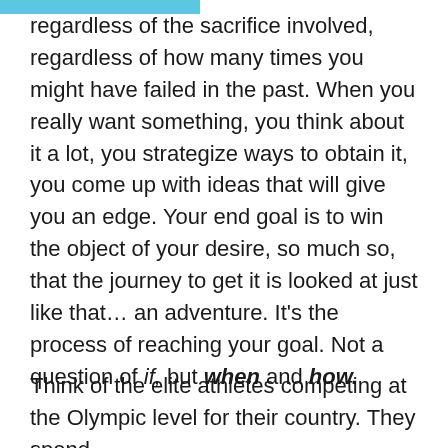regardless of the sacrifice involved, regardless of how many times you might have failed in the past. When you really want something, you think about it a lot, you strategize ways to obtain it, you come up with ideas that will give you an edge. Your end goal is to win the object of your desire, so much so, that the journey to get it is looked at just like that… an adventure. It's the process of reaching your goal. Not a question of if, but when and how.
Think of the elite athletes competing at the Olympic level for their country. They spend